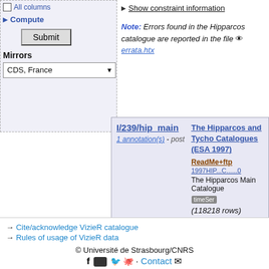☐ All columns
▶ Compute
Submit
Mirrors
CDS, France
▶ Show constraint information
Note: Errors found in the Hipparcos catalogue are reported in the file 👁 errata.htx
| I/239/hip_main | The Hipparcos and Tycho Catalogues (ESA 1997) |
| --- | --- |
| 1 annotation(s) - post | ReadMe+ftp
1997HIP...C......0
The Hipparcos Main Catalogue
timeSer
(118218 rows) |
| Full | RAJ2000 "h:m:s" | DEJ2000 "d:m:s" |
| --- | --- | --- |
| 1 | 03 57 01.7181478 | +06 02 23.88061 |
→ Cite/acknowledge VizieR catalogue
→ Rules of usage of VizieR data
© Université de Strasbourg/CNRS  f  ▶  🐦  🐙  · Contact ✉